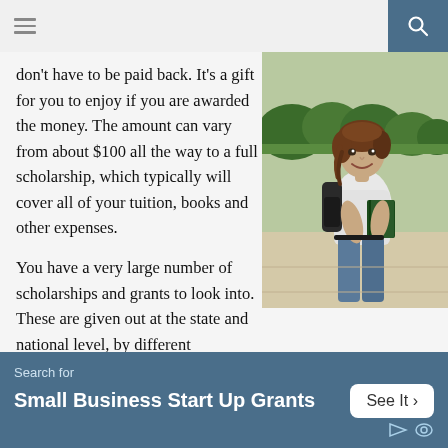don't have to be paid back. It's a gift for you to enjoy if you are awarded the money. The amount can vary from about $100 all the way to a full scholarship, which typically will cover all of your tuition, books and other expenses.
[Figure (photo): A female college student smiling, holding books, wearing a backpack, standing outdoors near shrubbery]
You have a very large number of scholarships and grants to look into. These are given out at the state and national level, by different universities, companies and organizations. If you have a particular affiliation
Search for Small Business Start Up Grants See It >